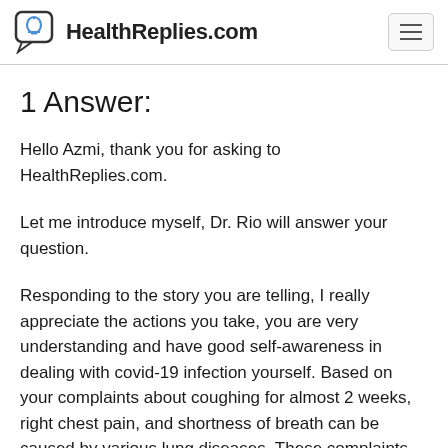HealthReplies.com
1 Answer:
Hello Azmi, thank you for asking to HealthReplies.com.
Let me introduce myself, Dr. Rio will answer your question.
Responding to the story you are telling, I really appreciate the actions you take, you are very understanding and have good self-awareness in dealing with covid-19 infection yourself. Based on your complaints about coughing for almost 2 weeks, right chest pain, and shortness of breath can be caused by various lung diseases. These complaints